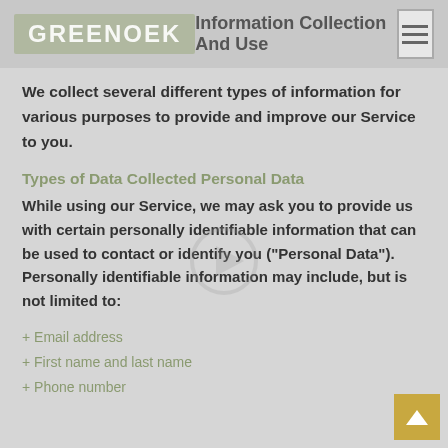GREENOEK / Information Collection And Use
We collect several different types of information for various purposes to provide and improve our Service to you.
Types of Data Collected Personal Data
While using our Service, we may ask you to provide us with certain personally identifiable information that can be used to contact or identify you ("Personal Data"). Personally identifiable information may include, but is not limited to:
+ Email address
+ First name and last name
+ Phone number